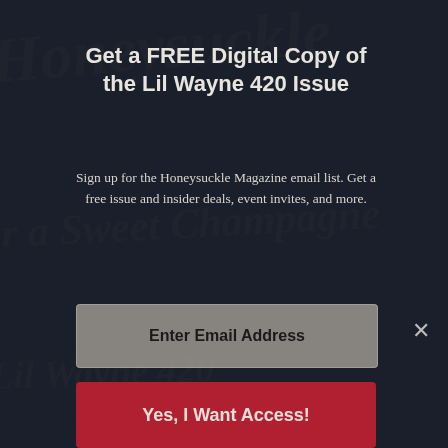Get a FREE Digital Copy of the Lil Wayne 420 Issue
Sign up for the Honeysuckle Magazine email list. Get a free issue and insider deals, event invites, and more.
Enter Email Address
Yes, I Want Access!
No Thanks!